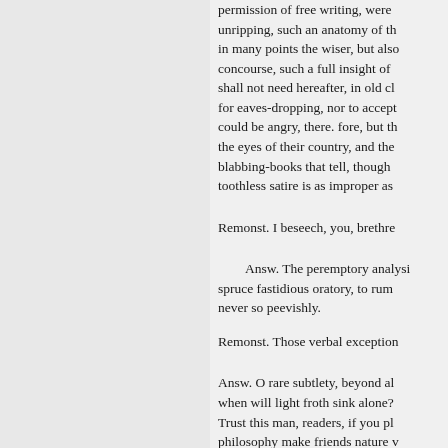permission of free writing, were unripping, such an anatomy of th in many points the wiser, but also concourse, such a full insight of shall not need hereafter, in old cl for eaves-dropping, nor to accept could be angry, there. fore, but th the eyes of their country, and the blabbing-books that tell, though toothless satire is as improper as
Remonst. I beseech, you, brethre
Answ. The peremptory analysi spruce fastidious oratory, to rum never so peevishly.
Remonst. Those verbal exception
Answ. O rare subtlety, beyond al when will light froth sink alone? Trust this man, readers, if you pl philosophy make friends nature v
Remonst. That scum may be